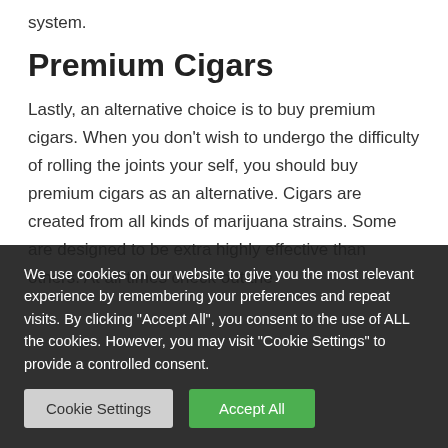system.
Premium Cigars
Lastly, an alternative choice is to buy premium cigars. When you don't wish to undergo the difficulty of rolling the joints your self, you should buy premium cigars as an alternative. Cigars are created from all kinds of marijuana strains. Some are designed to be extra highly effective than others. At all times check out the
We use cookies on our website to give you the most relevant experience by remembering your preferences and repeat visits. By clicking "Accept All", you consent to the use of ALL the cookies. However, you may visit "Cookie Settings" to provide a controlled consent.
Cookie Settings
Accept All